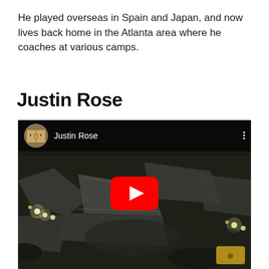He played overseas in Spain and Japan, and now lives back home in the Atlanta area where he coaches at various camps.
Justin Rose
[Figure (screenshot): YouTube video embed showing 'Justin Rose' with a dark aerial night-time photograph of what appears to be a stadium or racetrack as the thumbnail, with a YouTube play button in the center.]